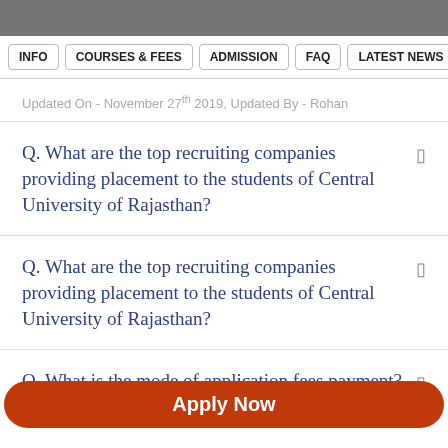INFO | COURSES & FEES | ADMISSION | FAQ | LATEST NEWS | PLA
Updated On - November 27th 2019, Updated By - Rohan
Q. What are the top recruiting companies providing placement to the students of Central University of Rajasthan?
Q. What are the top recruiting companies providing placement to the students of Central University of Rajasthan?
Q. What is the mode of application fees payment?